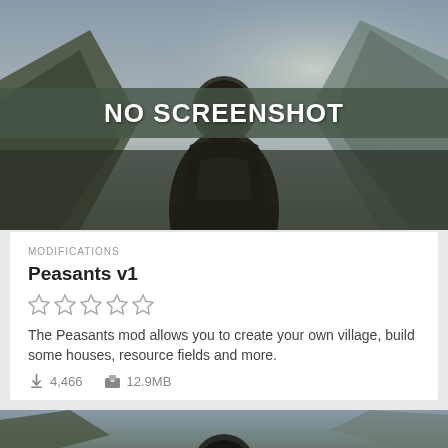[Figure (screenshot): A dark fantasy-style banner image showing a rugged medieval character in a mountainous landscape with stormy skies. A semi-transparent overlay banner in the center reads 'NO SCREENSHOT' in large bold white uppercase text.]
MODIFICATIONS
Peasants v1
[Figure (other): Five empty (unrated) star icons in a row representing a 0/5 star rating.]
The Peasants mod allows you to create your own village, build some houses, resource fields and more.
4,466   12.9MB
[Figure (screenshot): A partial view of another dark fantasy-style image at the bottom, showing the same character in a mountainous scene.]